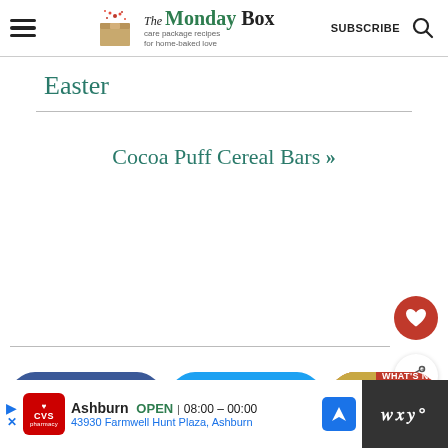The Monday Box — care package recipes for home-baked love | SUBSCRIBE
Easter
Cocoa Puff Cereal Bars »
Facebook share button | Twitter share button | WHAT'S NEXT → Golden Raisin Biscuit...
CVS Pharmacy Ashburn OPEN 08:00 – 00:00 43930 Farmwell Hunt Plaza, Ashburn